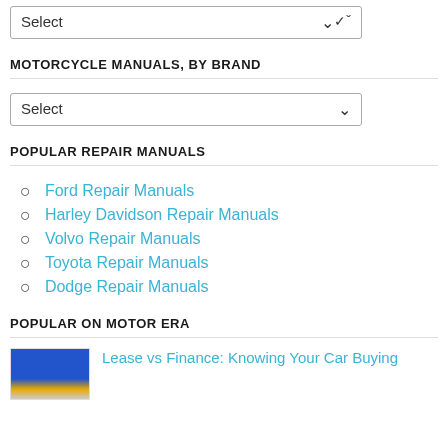Select (dropdown)
MOTORCYCLE MANUALS, BY BRAND
Select (dropdown)
POPULAR REPAIR MANUALS
Ford Repair Manuals
Harley Davidson Repair Manuals
Volvo Repair Manuals
Toyota Repair Manuals
Dodge Repair Manuals
POPULAR ON MOTOR ERA
Lease vs Finance: Knowing Your Car Buying